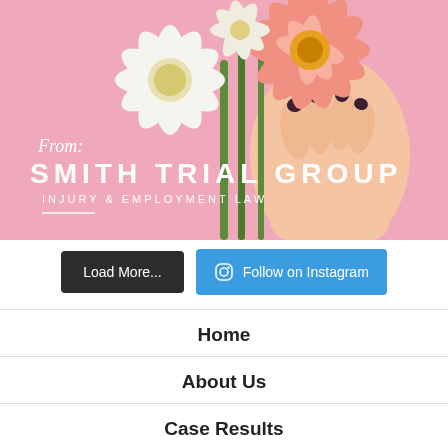[Figure (photo): Person holding a bouquet of flowers (white and pink gerbera daisies) against a pink background, with text overlay: 'From: SMITH TRIAL GROUP INJURY & EMPLOYMENT LAW']
Load More...
Follow on Instagram
Home
About Us
Case Results